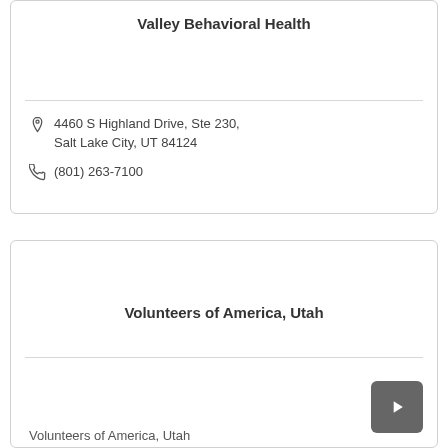Valley Behavioral Health
4460 S Highland Drive, Ste 230, Salt Lake City, UT 84124
(801) 263-7100
Volunteers of America, Utah
Volunteers of America, Utah